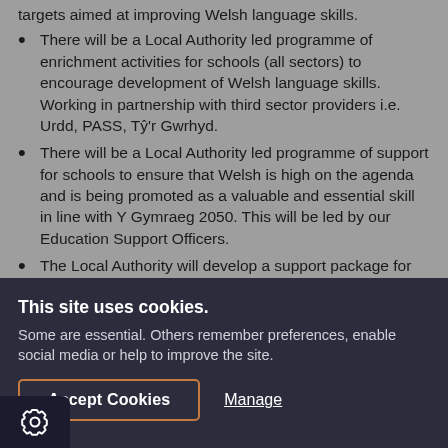targets aimed at improving Welsh language skills.
There will be a Local Authority led programme of enrichment activities for schools (all sectors) to encourage development of Welsh language skills. Working in partnership with third sector providers i.e. Urdd, PASS, Tŷ'r Gwrhyd.
There will be a Local Authority led programme of support for schools to ensure that Welsh is high on the agenda and is being promoted as a valuable and essential skill in line with Y Gymraeg 2050. This will be led by our Education Support Officers.
The Local Authority will develop a support package for
This site uses cookies. Some are essential. Others remember preferences, enable social media or help to improve the site.
Accept Cookies
Manage